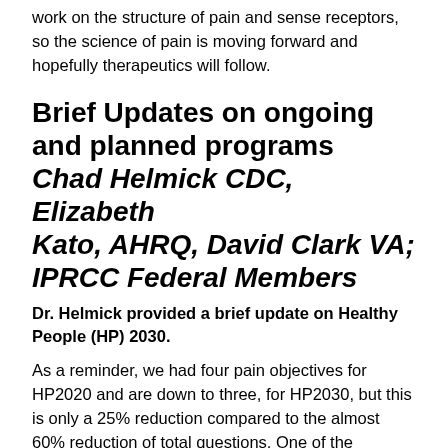work on the structure of pain and sense receptors, so the science of pain is moving forward and hopefully therapeutics will follow.
Brief Updates on ongoing and planned programs Chad Helmick CDC, Elizabeth Kato, AHRQ, David Clark VA; IPRCC Federal Members
Dr. Helmick provided a brief update on Healthy People (HP) 2030.
As a reminder, we had four pain objectives for HP2020 and are down to three, for HP2030, but this is only a 25% reduction compared to the almost 60% reduction of total questions. One of the questions is a core question, and the other two are developmental